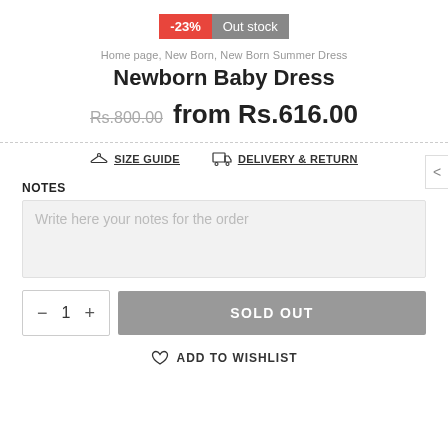-23%  Out stock
Home page, New Born, New Born Summer Dress
Newborn Baby Dress
Rs.800.00  from Rs.616.00
SIZE GUIDE   DELIVERY & RETURN
NOTES
Write here your notes for the order
− 1 +  SOLD OUT
ADD TO WISHLIST